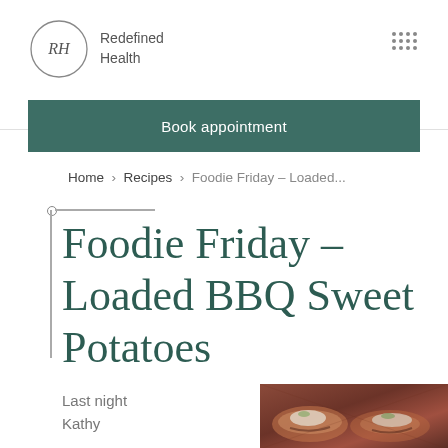Redefined Health
Book appointment
Home > Recipes > Foodie Friday – Loaded...
Foodie Friday – Loaded BBQ Sweet Potatoes
Last night Kathy
[Figure (photo): Food photo showing loaded BBQ sweet potatoes on a plate]